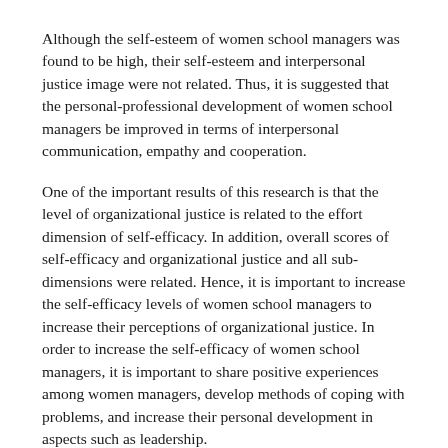Although the self-esteem of women school managers was found to be high, their self-esteem and interpersonal justice image were not related. Thus, it is suggested that the personal-professional development of women school managers be improved in terms of interpersonal communication, empathy and cooperation.
One of the important results of this research is that the level of organizational justice is related to the effort dimension of self-efficacy. In addition, overall scores of self-efficacy and organizational justice and all sub-dimensions were related. Hence, it is important to increase the self-efficacy levels of women school managers to increase their perceptions of organizational justice. In order to increase the self-efficacy of women school managers, it is important to share positive experiences among women managers, develop methods of coping with problems, and increase their personal development in aspects such as leadership.
This study underscores the need to empower more women to attain leadership positions especially in the educational sector because as succinctly stated by the Turkish Minister of Labour, Social Services and Family, Zehra Zumrut Selcuk during her address at the 63rd session of the United Nations Commission on the Status of Women in New York, United States on March 13, 2019, "We all know that achieving sustainable development goals